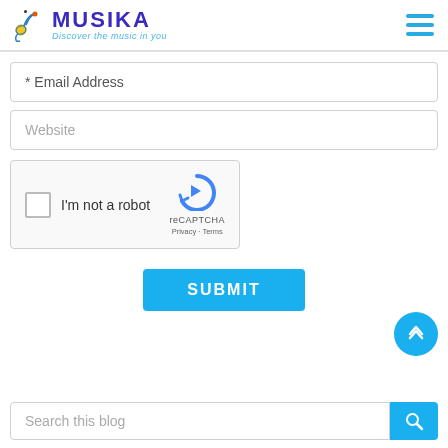[Figure (logo): Musika logo with musical note icon, title 'MUSIKA' in dark blue, subtitle 'Discover the music in you' in light blue, and hamburger menu icon on the right]
* Email Address
Website
[Figure (screenshot): reCAPTCHA widget with checkbox, 'I'm not a robot' text, reCAPTCHA logo and 'Privacy - Terms' links]
SUBMIT
Search this blog